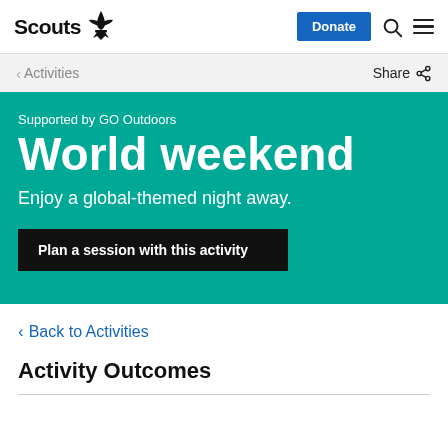Scouts | Donate | Search | Menu
< Activities | Share
Supported by GO Outdoors
World weekend
Enjoy a global-themed night away.
Plan a session with this activity
< Back to Activities
Activity Outcomes